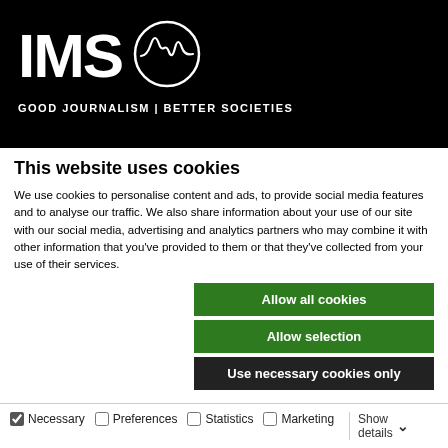[Figure (logo): IMS logo with circle containing wave/heartbeat graphic and tagline GOOD JOURNALISM | BETTER SOCIETIES on black background]
This website uses cookies
We use cookies to personalise content and ads, to provide social media features and to analyse our traffic. We also share information about your use of our site with our social media, advertising and analytics partners who may combine it with other information that you've provided to them or that they've collected from your use of their services.
Allow all cookies
Allow selection
Use necessary cookies only
Necessary   Preferences   Statistics   Marketing   Show details